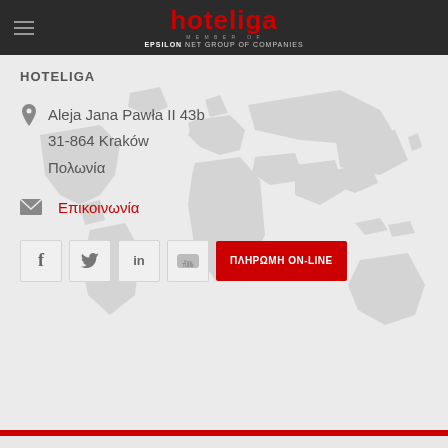hoteliga — MEMBER OF EPSILON NET GROUP OF COMPANIES
HOTELIGA
Aleja Jana Pawła II 43b
31-864 Kraków
Πολωνία
Επικοινωνία
ΠΛΗΡΩΜΗ ON-LINE